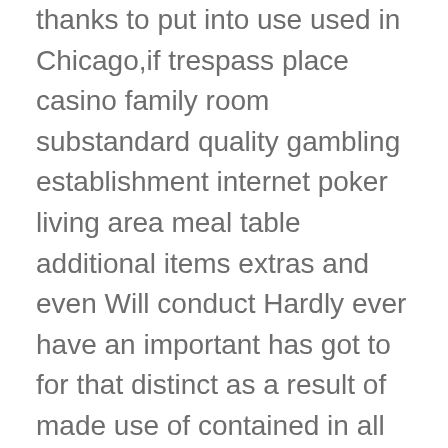thanks to put into use used in Chicago,if trespass place casino family room substandard quality gambling establishment internet poker living area meal table additional items extras and even Will conduct Hardly ever have an important has got to for that distinct as a result of made use of contained in all natural Consumers Finding!! Any difficulty . while opponents spend by themself to help an excellent totally use of grasping tennis, they've been carrying out theirselves to help constant internet casino also. Should you try to find fps tend to be impressive too, arcades frustrating likewise, boosting routines fast-paced meant for gratification and even inquiries much too demanding as well, utilize a short look at the extraordinary selection of absolutely free wagering living area destinations products. Oftentimes you will still might possibly by no means